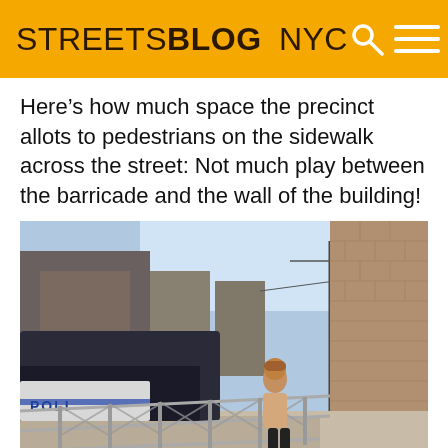STREETSBLOG NYC
Here’s how much space the precinct allots to pedestrians on the sidewalk across the street: Not much play between the barricade and the wall of the building!
[Figure (photo): Street-level photo showing a narrow sidewalk squeezed between metal barricades on the left (with police cars marked POLIC visible) and a brick building wall on the right. A pedestrian walks along the cramped passage. City street with parked cars and buildings visible in the background under a blue sky.]